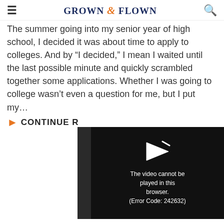GROWN & FLOWN
The summer going into my senior year of high school, I decided it was about time to apply to colleges. And by “I decided,” I mean I waited until the last possible minute and quickly scrambled together some applications. Whether I was going to college wasn’t even a question for me, but I put my…
CONTINUE R
[Figure (screenshot): Video player error overlay with play icon and message: The video cannot be played in this browser. (Error Code: 242632)]